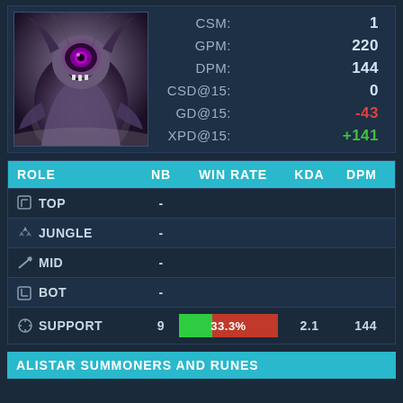[Figure (illustration): Champion artwork for a dark, monstrous League of Legends character with purple coloring]
| CSM: | 1 |
| GPM: | 220 |
| DPM: | 144 |
| CSD@15: | 0 |
| GD@15: | -43 |
| XPD@15: | +141 |
| ROLE | NB | WIN RATE | KDA | DPM |
| --- | --- | --- | --- | --- |
| TOP | - |  |  |  |
| JUNGLE | - |  |  |  |
| MID | - |  |  |  |
| BOT | - |  |  |  |
| SUPPORT | 9 | 33.3% | 2.1 | 144 |
ALISTAR SUMMONERS AND RUNES